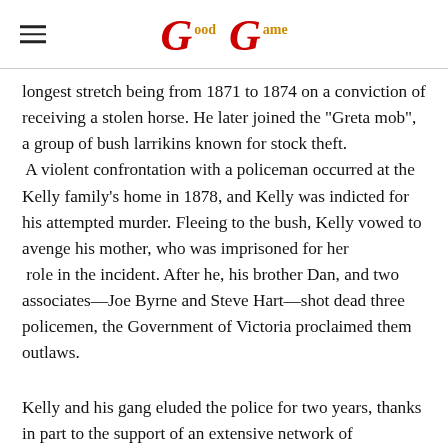GG (Good Game logo)
longest stretch being from 1871 to 1874 on a conviction of receiving a stolen horse. He later joined the "Greta mob", a group of bush larrikins known for stock theft. A violent confrontation with a policeman occurred at the Kelly family's home in 1878, and Kelly was indicted for his attempted murder. Fleeing to the bush, Kelly vowed to avenge his mother, who was imprisoned for her role in the incident. After he, his brother Dan, and two associates—Joe Byrne and Steve Hart—shot dead three policemen, the Government of Victoria proclaimed them outlaws.
Kelly and his gang eluded the police for two years, thanks in part to the support of an extensive network of sympathisers. The gang's crime spree included armed bank robberies at Euroa and Jerilderie, and the killing of Aaron Sherritt, a sympathiser turned police informer. In a